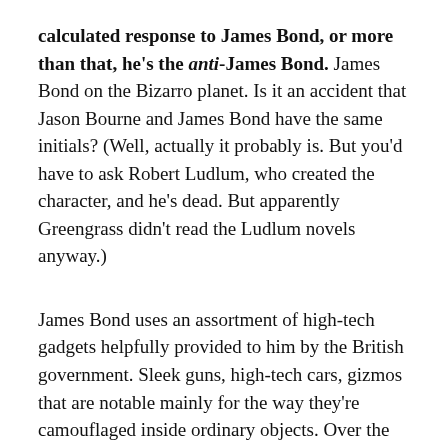calculated response to James Bond, or more than that, he's the anti-James Bond. James Bond on the Bizarro planet. Is it an accident that Jason Bourne and James Bond have the same initials? (Well, actually it probably is. But you'd have to ask Robert Ludlum, who created the character, and he's dead. But apparently Greengrass didn't read the Ludlum novels anyway.)
James Bond uses an assortment of high-tech gadgets helpfully provided to him by the British government. Sleek guns, high-tech cars, gizmos that are notable mainly for the way they're camouflaged inside ordinary objects. Over the years, Bond has used:
A remote-controlled BMW with rocket launcher
A tricked-out surfboard with a hidden